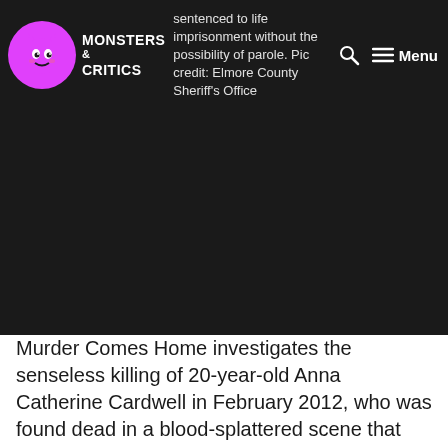Monsters & Critics — sentenced to life imprisonment without the possibility of parole. Pic credit: Elmore County Sheriff's Office
Murder Comes Home investigates the senseless killing of 20-year-old Anna Catherine Cardwell in February 2012, who was found dead in a blood-splattered scene that was reminiscent of the set